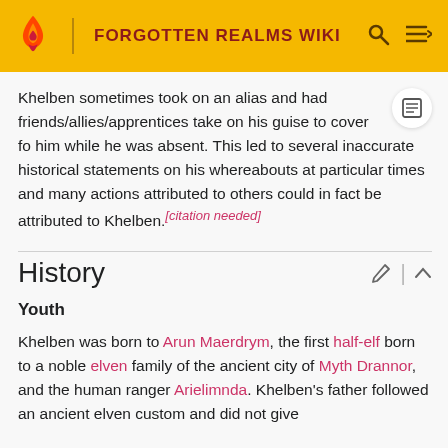FORGOTTEN REALMS WIKI
Khelben sometimes took on an alias and had friends/allies/apprentices take on his guise to cover for him while he was absent. This led to several inaccurate historical statements on his whereabouts at particular times and many actions attributed to others could in fact be attributed to Khelben.[citation needed]
History
Youth
Khelben was born to Arun Maerdrym, the first half-elf born to a noble elven family of the ancient city of Myth Drannor, and the human ranger Arielimnda. Khelben's father followed an ancient elven custom and did not give